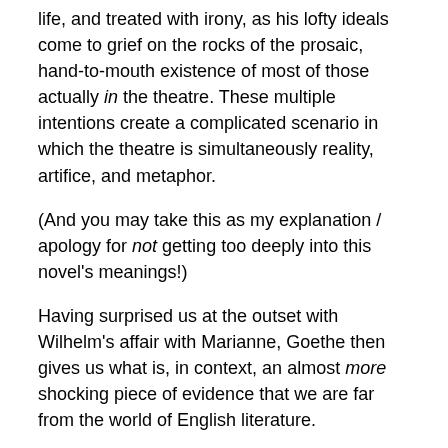life, and treated with irony, as his lofty ideals come to grief on the rocks of the prosaic, hand-to-mouth existence of most of those actually in the theatre. These multiple intentions create a complicated scenario in which the theatre is simultaneously reality, artifice, and metaphor.
(And you may take this as my explanation / apology for not getting too deeply into this novel's meanings!)
Having surprised us at the outset with Wilhelm's affair with Marianne, Goethe then gives us what is, in context, an almost more shocking piece of evidence that we are far from the world of English literature.
An early conversation between Wilhelm and his mother reveals that she blames herself for his obsession, having, some twelve years before, arranged as a Christmas gift for her son the performance of a puppet theatre. Wilhelm fires